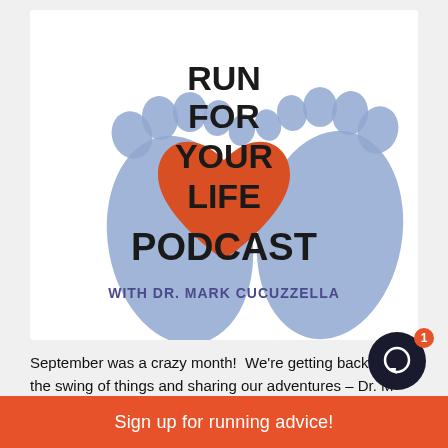[Figure (logo): Run For Your Life Podcast logo with two blue footprints and a red/orange heart in the center. Text reads RUN FOR YOUR LIFE PODCAST WITH DR. MARK CUCUZZELLA]
September was a crazy month!  We're getting back in the swing of things and sharing our adventures – Dr. M...
Sign up for running advice!